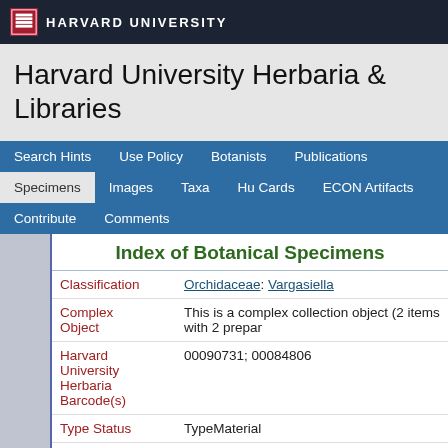HARVARD UNIVERSITY
Harvard University Herbaria & Libraries
Search Hints   Use Policy   Botanists   Publications   Specimens   Images   Taxa   Hu Cards   ECON Artifacts   Contribute   Comments
Index of Botanical Specimens
| Field | Value |
| --- | --- |
| Classification | Orchidaceae: Vargasiella |
| Complex Object | This is a complex collection object (2 items with 2 prepar... |
| Harvard University Herbaria Barcode(s) | 00090731; 00084806 |
| Type Status | TypeMaterial |
| Collector | J. C. Vargas Calderón |
| Collector | 3288 |